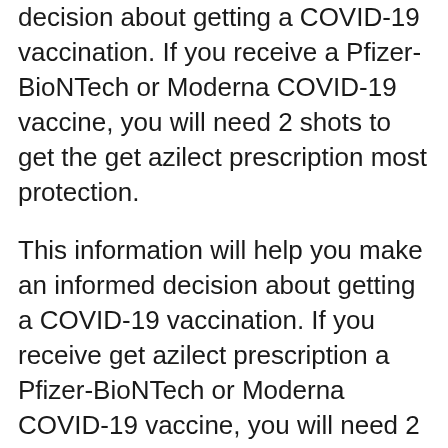decision about getting a COVID-19 vaccination. If you receive a Pfizer-BioNTech or Moderna COVID-19 vaccine, you will need 2 shots to get the get azilect prescription most protection.
This information will help you make an informed decision about getting a COVID-19 vaccination. If you receive get azilect prescription a Pfizer-BioNTech or Moderna COVID-19 vaccine, you will need 2 shots to get the most protection. If you receive a Pfizer-BioNTech or Moderna COVID-19 vaccine, you will need 2 shots to get the most protection.
This information will help azilect online canadian pharmacy you make try this web-site an informed decision about getting a COVID-19 vaccination.